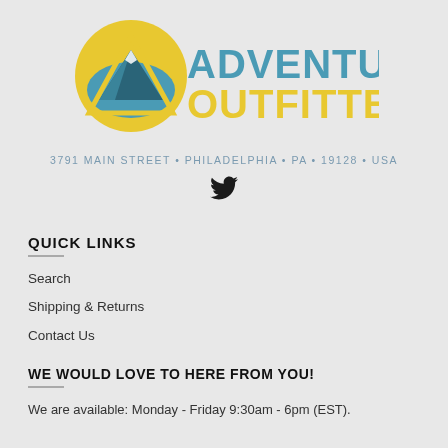[Figure (logo): Adventure Outfitter logo with yellow circle containing mountain graphic and teal text reading ADVENTURE OUTFITTER .com]
3791 MAIN STREET • PHILADELPHIA • PA • 19128 • USA
[Figure (illustration): Twitter bird icon in black]
QUICK LINKS
Search
Shipping & Returns
Contact Us
WE WOULD LOVE TO HERE FROM YOU!
We are available: Monday - Friday 9:30am - 6pm (EST).